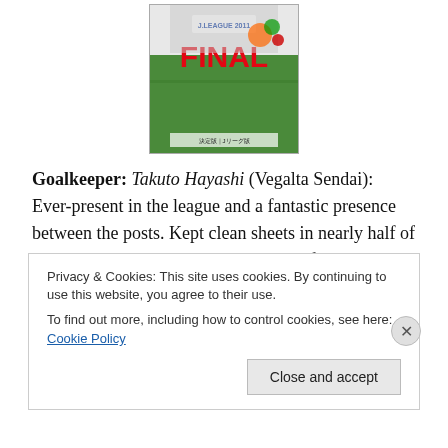[Figure (photo): Magazine cover showing J.League 2011 Final, with the word FINAL in large red letters and players in the background]
Goalkeeper: Takuto Hayashi (Vegalta Sendai): Ever-present in the league and a fantastic presence between the posts. Kept clean sheets in nearly half of his matches and provided a great base for the side to build from and enjoy their best ever season.
Right Back: Hiroki Sakai (Kashiwa Reysol): A constant threat when his side is attacking and supplements his
Privacy & Cookies: This site uses cookies. By continuing to use this website, you agree to their use.
To find out more, including how to control cookies, see here: Cookie Policy